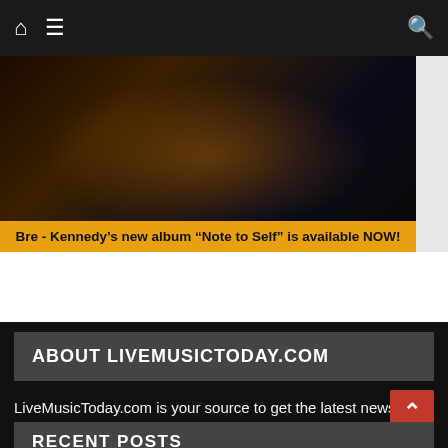LiveMusicToday.com navigation bar
[Figure (photo): Dark concert/music photo with orange-tinted light on a person, dark keyboard/equipment in background]
Bre - Kennedy's new album “Note to Self” is available NOW!
ABOUT LIVEMUSICTODAY.COM
LiveMusicToday.com is your source to get the latest news and reviews for everything relating to Live Concerts. Tour Announcements, Album Announcements, Show Reviews, Artist Features and Interviews, Show Videos, etc… we will bring it all directly to your desktop or mobile device.
RECENT POSTS